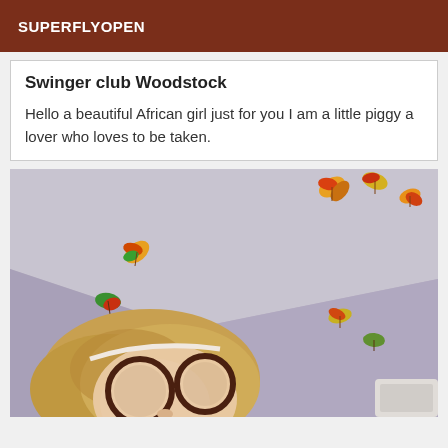SUPERFLYOPEN
Swinger club Woodstock
Hello a beautiful African girl just for you I am a little piggy a lover who loves to be taken.
[Figure (photo): Illustrated/cartoon-style image of a young woman with blonde hair and round glasses, photographed from above, with autumn leaf decorations on the walls and ceiling around her.]